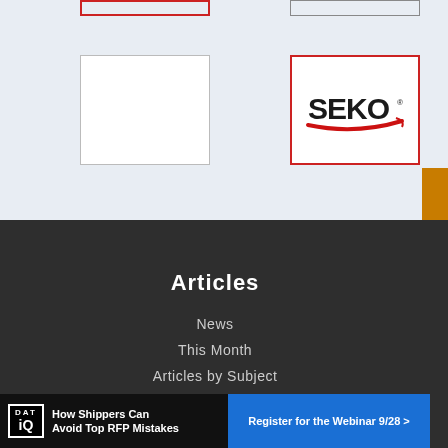[Figure (other): Top-left red-bordered box (partial/truncated)]
[Figure (other): Top-right gray-bordered box (partial/truncated)]
[Figure (other): Mid-left empty white box with gray border]
[Figure (logo): SEKO logistics logo in red-bordered white box]
FAQs & Feedback
Articles
News
This Month
Articles by Subject
Features
[Figure (infographic): DAT iQ advertisement banner: 'How Shippers Can Avoid Top RFP Mistakes' with 'Register for the Webinar 9/28 >' button]